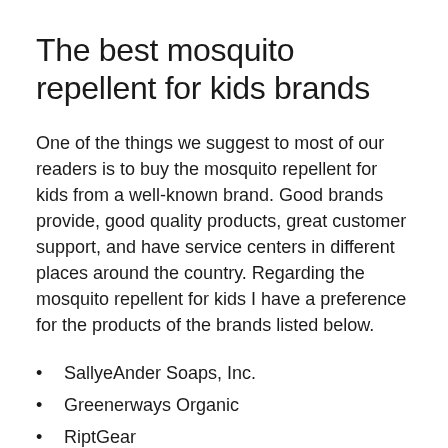The best mosquito repellent for kids brands
One of the things we suggest to most of our readers is to buy the mosquito repellent for kids from a well-known brand. Good brands provide, good quality products, great customer support, and have service centers in different places around the country. Regarding the mosquito repellent for kids I have a preference for the products of the brands listed below.
SallyeAnder Soaps, Inc.
Greenerways Organic
RiptGear